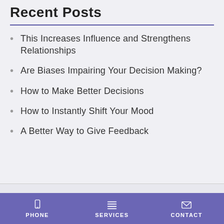Recent Posts
This Increases Influence and Strengthens Relationships
Are Biases Impairing Your Decision Making?
How to Make Better Decisions
How to Instantly Shift Your Mood
A Better Way to Give Feedback
PHONE   SERVICES   CONTACT